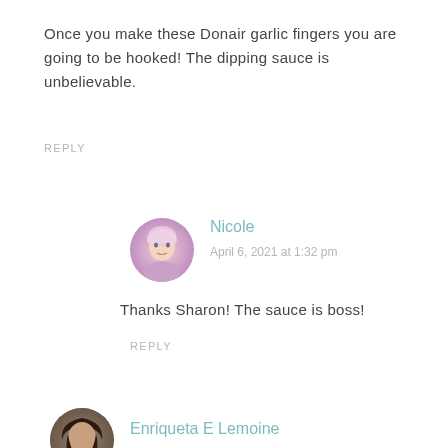Once you make these Donair garlic fingers you are going to be hooked! The dipping sauce is unbelievable.
REPLY
Nicole
April 6, 2021 at 1:32 pm
Thanks Sharon! The sauce is boss!
REPLY
Enriqueta E Lemoine